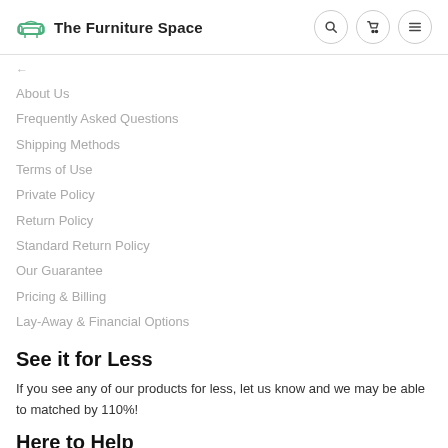The Furniture Space
About Us
Frequently Asked Questions
Shipping Methods
Terms of Use
Private Policy
Return Policy
Standard Return Policy
Our Guarantee
Pricing & Billing
Lay-Away & Financial Options
See it for Less
If you see any of our products for less, let us know and we may be able to matched by 110%!
Here to Help